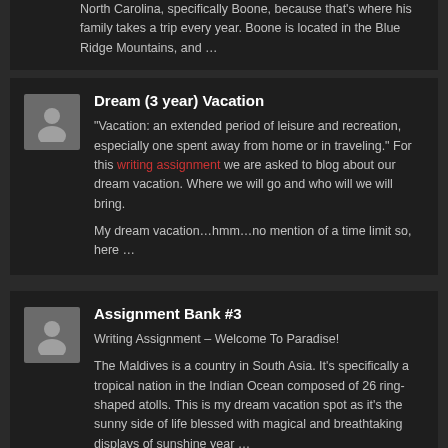North Carolina, specifically Boone, because that's where his family takes a trip every year. Boone is located in the Blue Ridge Mountains, and …
Dream (3 year) Vacation
“Vacation: an extended period of leisure and recreation, especially one spent away from home or in traveling.” For this writing assignment we are asked to blog about our dream vacation. Where we will go and who will we will bring.
My dream vacation…hmm…no mention of a time limit so, here …
Assignment Bank #3
Writing Assignment – Welcome To Paradise!
The Maldives is a country in South Asia. It’s specifically a tropical nation in the Indian Ocean composed of 26 ring-shaped atolls. This is my dream vacation spot as it’s the sunny side of life blessed with magical and breathtaking displays of sunshine year …